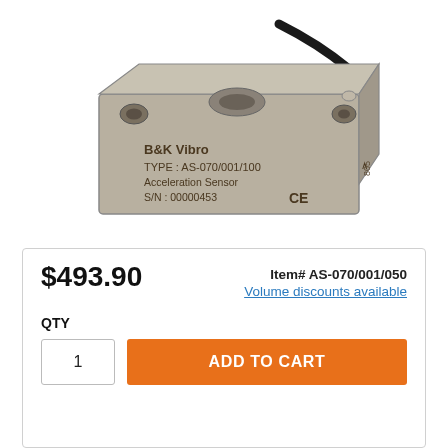[Figure (photo): B&K Vibro acceleration sensor, model AS-070/001/100, metallic rectangular block with cable, CE marked, S/N 00000453]
$493.90
Item# AS-070/001/050
Volume discounts available
QTY
1
ADD TO CART